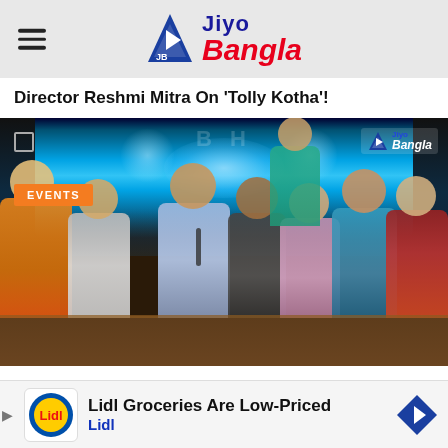Jiyo Bangla
Director Reshmi Mitra On ‘Tolly Kotha’!
[Figure (photo): Group photo of several people seated together at an event, with a large LED screen showing blue glowing visuals in the background. An orange EVENTS badge is visible in the lower left of the image, and a Jiyo Bangla watermark is in the top right.]
Lidl Groceries Are Low-Priced
Lidl